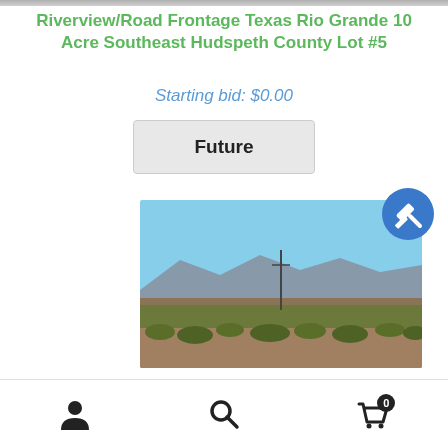Riverview/Road Frontage Texas Rio Grande 10 Acre Southeast Hudspeth County Lot #5
Starting bid: $0.00
[Figure (other): Future auction status button — a light grey rounded rectangle with bold text 'Future']
[Figure (photo): Photograph of a flat desert landscape with scrub brush in the foreground, a utility pole in the middle distance, and mountains visible on the horizon under a clear blue sky.]
Navigation bar with user account icon, search icon, and shopping cart icon with badge showing 0